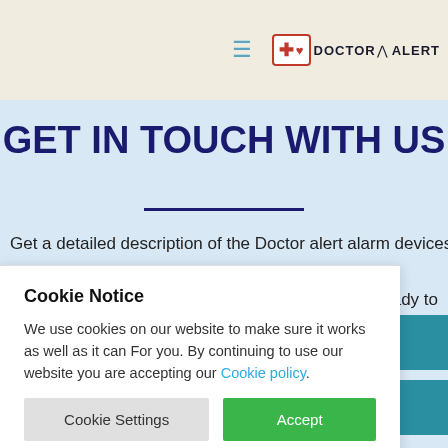DOCTOR ALERT — navigation header with logo
GET IN TOUCH WITH US
Get a detailed description of the Doctor alert alarm devices
always ready to
Cookie Notice
We use cookies on our website to make sure it works as well as it can For you. By continuing to use our website you are accepting our Cookie policy.
Cookie Settings  Accept